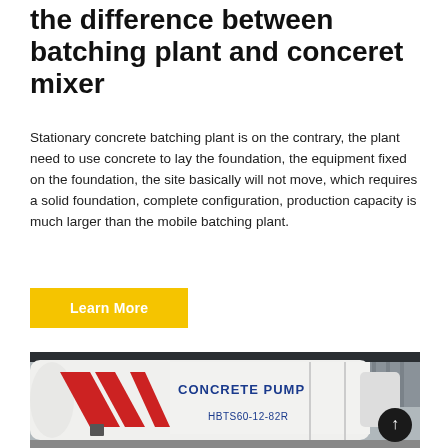the difference between batching plant and conceret mixer
Stationary concrete batching plant is on the contrary, the plant need to use concrete to lay the foundation, the equipment fixed on the foundation, the site basically will not move, which requires a solid foundation, complete configuration, production capacity is much larger than the mobile batching plant.
Learn More
[Figure (photo): Photo of a white concrete pump machine labeled CONCRETE PUMP and HBTS60-12-82R with red chevron markings on its side, photographed outdoors.]